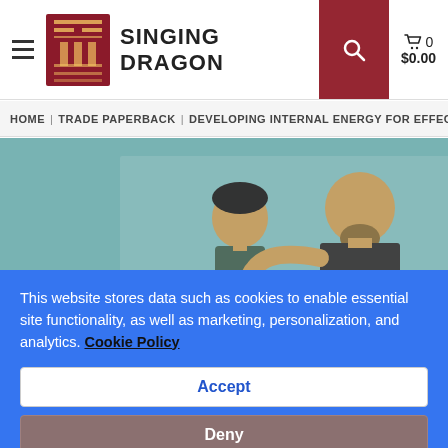SINGING DRAGON — Navigation header with hamburger menu, logo, search button, cart (0, $0.00)
HOME | TRADE PAPERBACK | DEVELOPING INTERNAL ENERGY FOR EFFECTI...
[Figure (illustration): Book cover illustration showing two figures — a child and a larger adult man with a beard — on a teal/blue-green background, depicting a martial arts or teaching scene.]
This website stores data such as cookies to enable essential site functionality, as well as marketing, personalization, and analytics. Cookie Policy
Accept
Deny